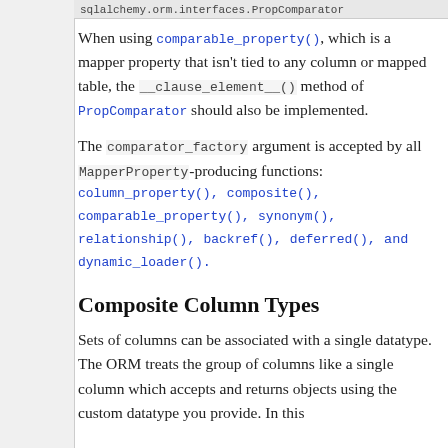sqlalchemy.orm.interfaces.PropComparator
When using comparable_property(), which is a mapper property that isn't tied to any column or mapped table, the __clause_element__() method of PropComparator should also be implemented.
The comparator_factory argument is accepted by all MapperProperty-producing functions: column_property(), composite(), comparable_property(), synonym(), relationship(), backref(), deferred(), and dynamic_loader().
Composite Column Types
Sets of columns can be associated with a single datatype. The ORM treats the group of columns like a single column which accepts and returns objects using the custom datatype you provide. In this